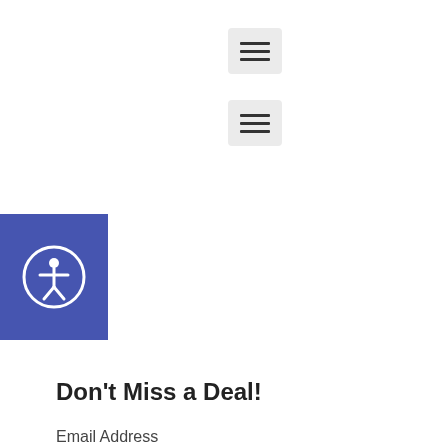[Figure (other): Hamburger menu button (three horizontal lines) on a light gray background]
[Figure (other): Second hamburger menu button (three horizontal lines) on a light gray background]
[Figure (other): Accessibility icon button — blue square background with white person-in-circle icon]
Don't Miss a Deal!
Email Address
[Figure (other): Empty email address text input field with border]
[Figure (other): Subscribe button with pink/magenta border and text on white background]
powered by MailChimp!